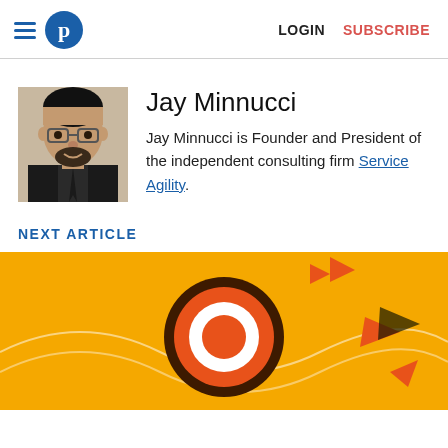LOGIN  SUBSCRIBE
[Figure (photo): Headshot photo of Jay Minnucci, a man with glasses and a beard wearing a dark suit and tie]
Jay Minnucci
Jay Minnucci is Founder and President of the independent consulting firm Service Agility.
NEXT ARTICLE
[Figure (illustration): Decorative illustration with orange/yellow background featuring a circular target/bullseye design in brown, orange and white, with small orange rocket/arrow shapes around it]